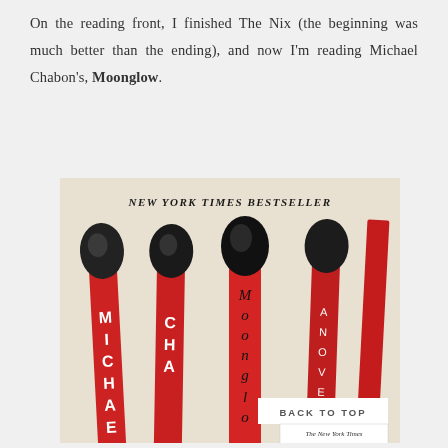On the reading front, I finished The Nix (the beginning was much better than the ending), and now I'm reading Michael Chabon's, Moonglow.
[Figure (photo): Book cover of 'Moonglow' by Michael Chabon. The cover shows four large matchsticks with black heads and red bodies against a cream/beige background. Text on the matchsticks spells out 'MICHAEL CHABON MOONGLOW A NOVEL'. At the top it reads 'NEW YORK TIMES BESTSELLER' in bold italic. A 'Back to Top' button overlay and a New York Times Book Review badge appear in the lower right corner.]